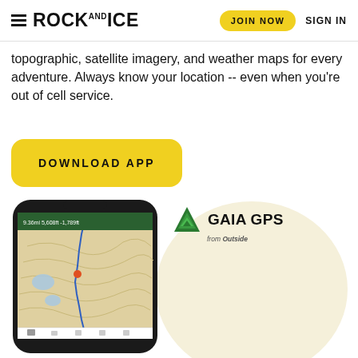ROCK·ICE — JOIN NOW   SIGN IN
topographic, satellite imagery, and weather maps for every adventure. Always know your location -- even when you're out of cell service.
[Figure (other): Yellow rounded rectangle button with text DOWNLOAD APP in bold uppercase black letters]
[Figure (screenshot): Smartphone mockup showing Gaia GPS app with topographic trail map displaying a hiking route with lakes and elevation data. Gaia GPS from Outside logo shown to the right of the phone. Large cream-colored letter O shape visible in background.]